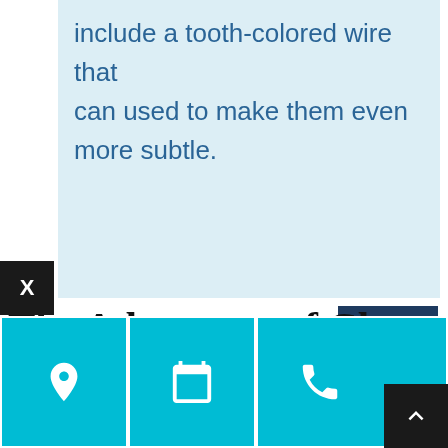include a tooth-colored wire that can used to make them even more subtle.
[Figure (other): Hamburger menu button icon with three horizontal white lines on a dark navy background]
The Advantage of Clear Braces
One advantage that braces have over clear aligners is ease of compliance with
[Figure (other): Cyan footer bar with three icon buttons: location pin, calendar, and phone. A black scroll-to-top button is in the bottom right corner. An X close button is on the left side.]